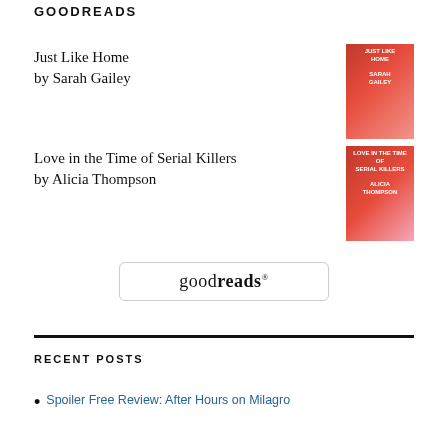GOODREADS
Just Like Home
by Sarah Gailey
[Figure (illustration): Book cover for Just Like Home by Sarah Gailey, reddish-pink cover]
Love in the Time of Serial Killers
by Alicia Thompson
[Figure (illustration): Book cover for Love in the Time of Serial Killers by Alicia Thompson, pink cover with a woman holding a book]
[Figure (logo): Goodreads logo in a rounded rectangle border]
RECENT POSTS
Spoiler Free Review: After Hours on Milagro